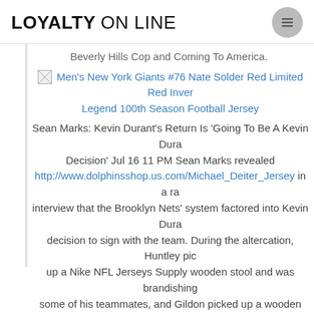LOYALTY ON LINE
Beverly Hills Cop and Coming To America.
Men's New York Giants #76 Nate Solder Red Limited Red Inverted Legend 100th Season Football Jersey
Sean Marks: Kevin Durant's Return Is 'Going To Be A Kevin Durant Decision' Jul 16 11 PM Sean Marks revealed http://www.dolphinsshop.us.com/Michael_Deiter_Jersey in a ra interview that the Brooklyn Nets' system factored into Kevin Dura decision to sign with the team. During the altercation, Huntley pic up a Nike NFL Jerseys Supply wooden stool and was brandishing some of his teammates, and Gildon picked up a wooden folding c before having it ripped from his hands by another teammate. We building a team during the season, while competing in the Champ League and Premier League, the toughest league in the world, a always that is dangerous, this type of situation can happen. Ojea he hoped international arrest warrants would be issued as a resu the suit. Bel answers readers' questions on emotional and relation problems each week. Because one natural disaster had already sh the series, there weren't any chances taken for whether one happ again. Mathews was only 2 of 9 shooting from the arc but the